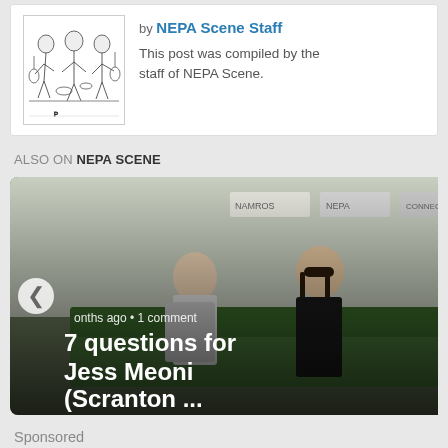[Figure (illustration): Author card with hand-drawn illustration of musicians/band members on the left, author byline and description on the right]
by NEPA Scene Staff
This post was compiled by the staff of NEPA Scene.
ALSO ON NEPA SCENE
[Figure (photo): Carousel showing two article thumbnails: left card shows two people seated (7 questions for Jess Meoni (Scranton ...)), right card shows a person with raised hand (NEPA NOTES Mao, .). Navigation arrows visible.]
Sponsored
[Figure (photo): Sponsored content image showing a person and warm-toned background]